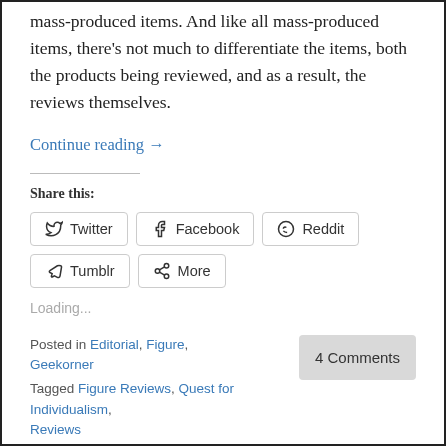mass-produced items. And like all mass-produced items, there's not much to differentiate the items, both the products being reviewed, and as a result, the reviews themselves.
Continue reading →
Share this:
Twitter | Facebook | Reddit | Tumblr | More
Loading...
Posted in Editorial, Figure, Geekorner
Tagged Figure Reviews, Quest for Individualism, Reviews
4 Comments